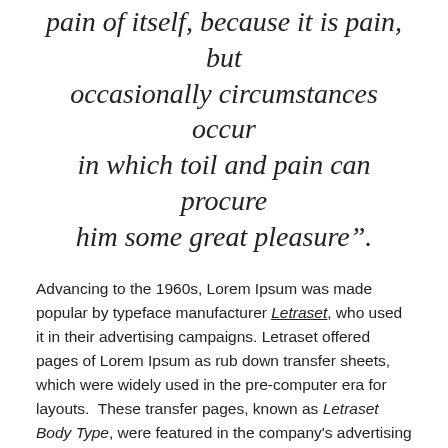pain of itself, because it is pain, but occasionally circumstances occur in which toil and pain can procure him some great pleasure".
Advancing to the 1960s, Lorem Ipsum was made popular by typeface manufacturer Letraset, who used it in their advertising campaigns. Letraset offered pages of Lorem Ipsum as rub down transfer sheets, which were widely used in the pre-computer era for layouts. These transfer pages, known as Letraset Body Type, were featured in the company's advertising and their popular catalogue.
Lorem Ipsum was reintroduced in the 1980s by the